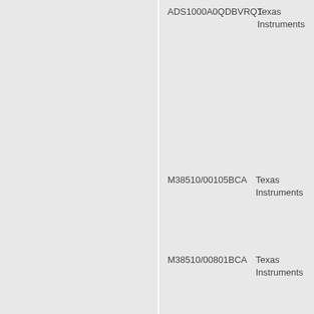ADS1000A0QDBVRQ1	Texas Instruments
M38510/00105BCA	Texas Instruments
M38510/00801BCA	Texas Instruments
M38510/00803BCA	Texas Instruments
M38510/00501BCA	Texas Instruments